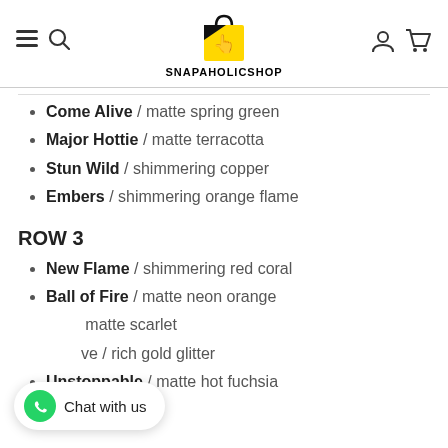SNAPAHOLICSHOP
Come Alive / matte spring green
Major Hottie / matte terracotta
Stun Wild / shimmering copper
Embers / shimmering orange flame
ROW 3
New Flame / shimmering red coral
Ball of Fire / matte neon orange
matte scarlet
ve / rich gold glitter
Unstoppable / matte hot fuchsia